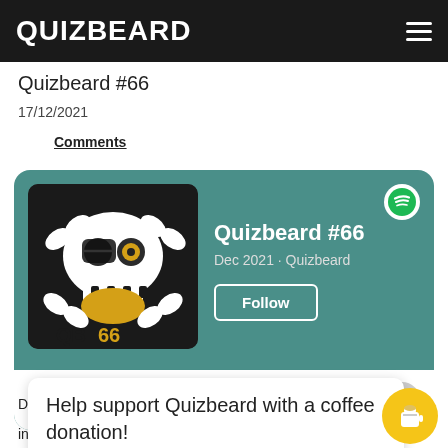QUIZBEARD
Quizbeard #66
17/12/2021
Comments
[Figure (screenshot): Spotify embed card for Quizbeard #66 podcast episode, showing skull and crossbones logo with QB66 label, episode title Quizbeard #66, Dec 2021 · Quizbeard, Follow button, and play controls]
Help support Quizbeard with a coffee donation!
Di
in history and Newspapers.